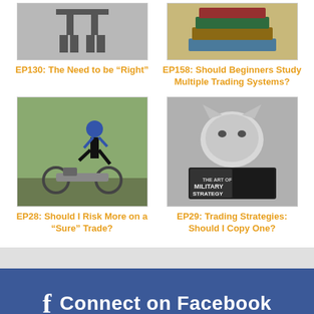[Figure (photo): Silhouette of legs standing on a platform or bench]
EP130: The Need to be “Right”
[Figure (photo): Stack of books]
EP158: Should Beginners Study Multiple Trading Systems?
[Figure (photo): Person jumping over a motorcycle on a road]
EP28: Should I Risk More on a “Sure” Trade?
[Figure (photo): Cat reading a book titled The Art of Military Strategy]
EP29: Trading Strategies: Should I Copy One?
Connect on Facebook